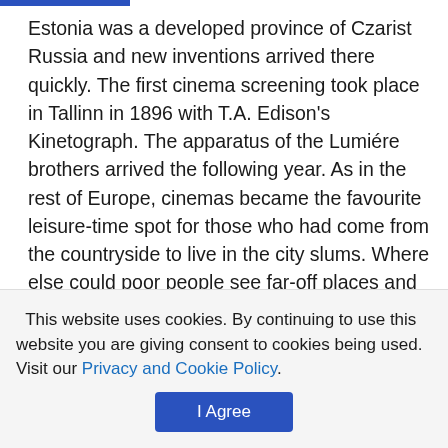Estonia was a developed province of Czarist Russia and new inventions arrived there quickly. The first cinema screening took place in Tallinn in 1896 with T.A. Edison's Kinetograph. The apparatus of the Lumiére brothers arrived the following year. As in the rest of Europe, cinemas became the favourite leisure-time spot for those who had come from the countryside to live in the city slums. Where else could poor people see far-off places and exotic animals? Large cinemas even had their own orchestra, buffet, and enclosed terrace.
When Estonia won its independence in 1918, small new studios endeavoured to make adventure stories and comedies. Local rogues were adapted to suit adventure
This website uses cookies. By continuing to use this website you are giving consent to cookies being used. Visit our Privacy and Cookie Policy.